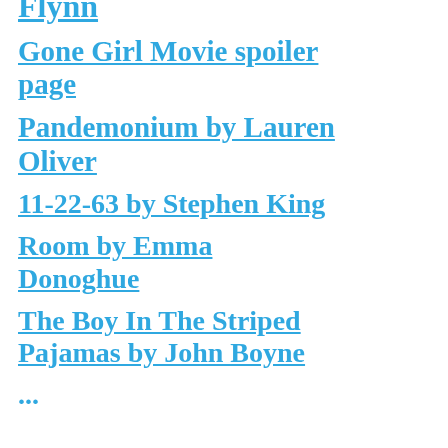FLYNN
Gone Girl Movie spoiler page
Pandemonium by Lauren Oliver
11-22-63 by Stephen King
ROOM by Emma Donoghue
The Boy In The Striped Pajamas by John Boyne
...